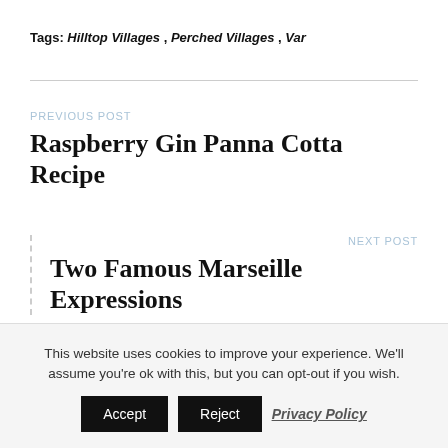Tags: Hilltop Villages , Perched Villages , Var
PREVIOUS POST
Raspberry Gin Panna Cotta Recipe
NEXT POST
Two Famous Marseille Expressions
This website uses cookies to improve your experience. We'll assume you're ok with this, but you can opt-out if you wish.
Accept   Reject   Privacy Policy